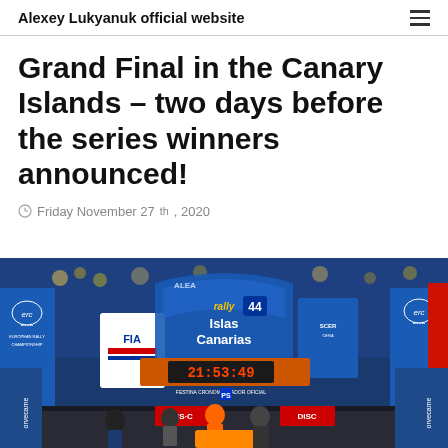Alexey Lukyanuk official website
Grand Final in the Canary Islands – two days before the series winners announced!
Friday November 27th, 2020
[Figure (photo): Rally Islas Canarias event photo showing the ceremonial start arch with ERC and FiA branding, a digital timer reading 21:53:49, and rally drivers/officials in front of a car under the arch at night.]